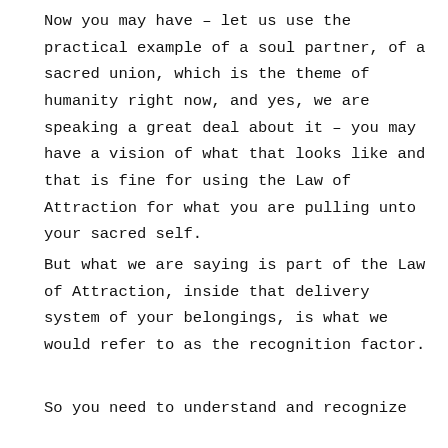Now you may have – let us use the practical example of a soul partner, of a sacred union, which is the theme of humanity right now, and yes, we are speaking a great deal about it – you may have a vision of what that looks like and that is fine for using the Law of Attraction for what you are pulling unto your sacred self.
But what we are saying is part of the Law of Attraction, inside that delivery system of your belongings, is what we would refer to as the recognition factor.
So you need to understand and recognize